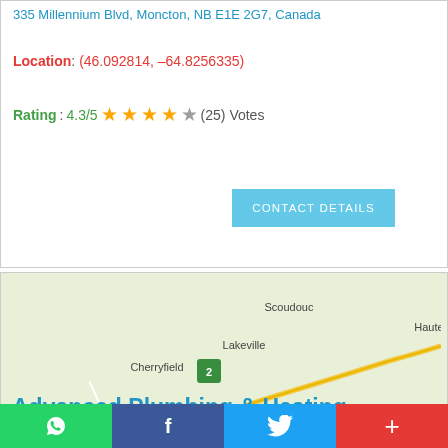335 Millennium Blvd, Moncton, NB E1E 2G7, Canada
Location: (46.092814, -64.8256335)
Rating: 4.3/5 ★★★★☆ (25) Votes
[Figure (map): Google Maps view of Moncton, NB area showing Cherryfield, Lakeville, Scoudouc, Moncton, Riverview, Coverdale, Lower Coverdale, Stoney Creek, Memramcook and surrounding regions with highway markers 2, 15, 106, 114, 128, 933]
Advanced Plumbing & Heating
Social share bar with WhatsApp, Facebook, Twitter, and plus buttons